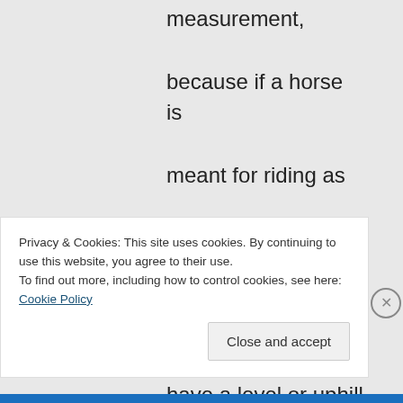measurement, because if a horse is meant for riding as opposed to racing or plowing, he needs to have a level or uphill spine, or at least a spine that can become level when ridden properly. The
Privacy & Cookies: This site uses cookies. By continuing to use this website, you agree to their use.
To find out more, including how to control cookies, see here: Cookie Policy